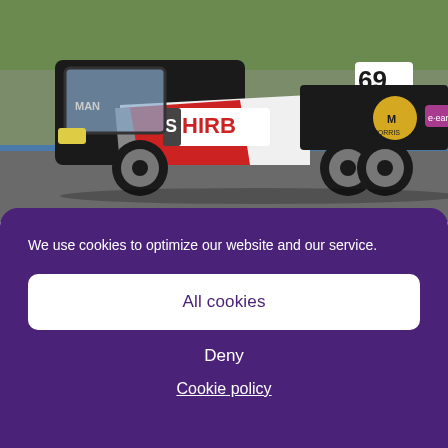[Figure (photo): A black and white racing truck with number 69, branded with 'NUGENT', 'HIRB', 'Morris', and other sponsor logos, racing on a track. The truck is a cab-over style semi-truck tractor unit with no trailer, photographed from the side while in motion on a racing circuit.]
We use cookies to optimize our website and our service.
All cookies
Deny
Cookie policy